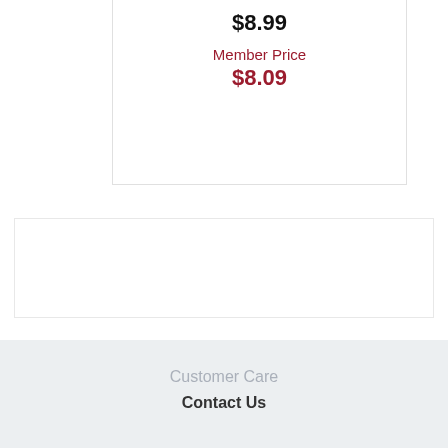$8.99
Member Price
$8.09
[Figure (other): Advertisement or promotional banner box, empty white rectangle with light border]
Customer Care
Contact Us